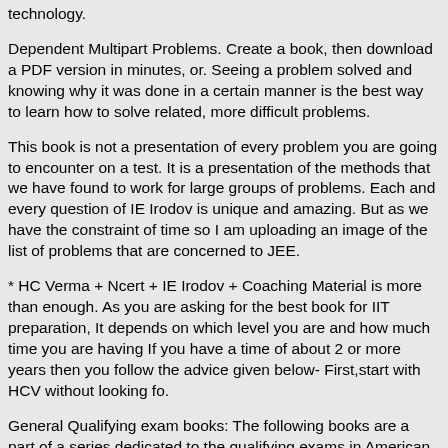technology.
Dependent Multipart Problems. Create a book, then download a PDF version in minutes, or. Seeing a problem solved and knowing why it was done in a certain manner is the best way to learn how to solve related, more difficult problems.
This book is not a presentation of every problem you are going to encounter on a test. It is a presentation of the methods that we have found to work for large groups of problems. Each and every question of IE Irodov is unique and amazing. But as we have the constraint of time so I am uploading an image of the list of problems that are concerned to JEE.
* HC Verma + Ncert + IE Irodov + Coaching Material is more than enough. As you are asking for the best book for IIT preparation, It depends on which level you are and how much time you are having If you have a time of about 2 or more years then you follow the advice given below- First,start with HCV without looking fo.
General Qualifying exam books: The following books are a part of a series dedicated to the qualifying exams in American Universities and has a large compilation of problems of all levels. Others in the series include Mechanics,